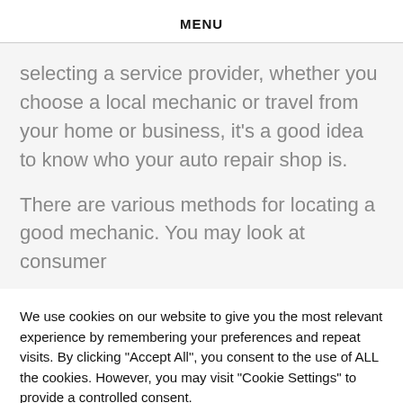MENU
selecting a service provider, whether you choose a local mechanic or travel from your home or business, it’s a good idea to know who your auto repair shop is.
There are various methods for locating a good mechanic. You may look at consumer
We use cookies on our website to give you the most relevant experience by remembering your preferences and repeat visits. By clicking “Accept All”, you consent to the use of ALL the cookies. However, you may visit “Cookie Settings” to provide a controlled consent.
Cookie Settings | Accept All